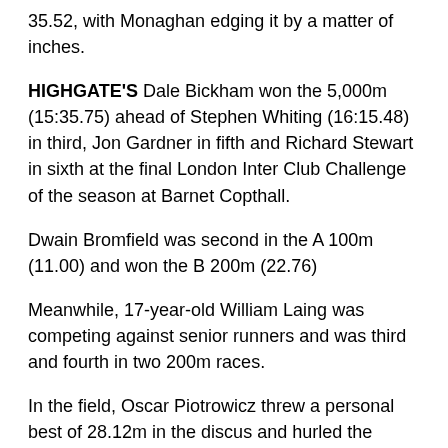35.52, with Monaghan edging it by a matter of inches.
HIGHGATE'S Dale Bickham won the 5,000m (15:35.75) ahead of Stephen Whiting (16:15.48) in third, Jon Gardner in fifth and Richard Stewart in sixth at the final London Inter Club Challenge of the season at Barnet Copthall.
Dwain Bromfield was second in the A 100m (11.00) and won the B 200m (22.76)
Meanwhile, 17-year-old William Laing was competing against senior runners and was third and fourth in two 200m races.
In the field, Oscar Piotrowicz threw a personal best of 28.12m in the discus and hurled the hammer 36.85m.
Harriers' Damian Shirley was fifth in the Wimbledon Park time trial race at Wimbledon Common on Saturday, and O'Shea (18.34) continued his good form